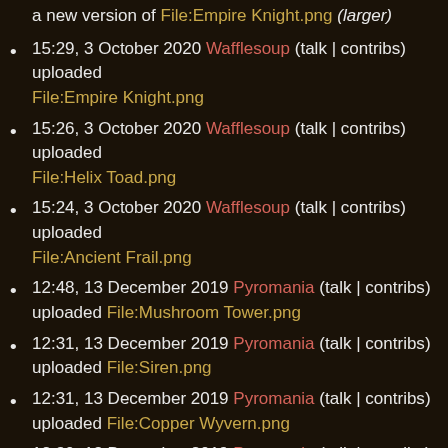a new version of File:Empire Knight.png (larger)
15:29, 3 October 2020 Wafflesoup (talk | contribs) uploaded File:Empire Knight.png
15:26, 3 October 2020 Wafflesoup (talk | contribs) uploaded File:Helix Toad.png
15:24, 3 October 2020 Wafflesoup (talk | contribs) uploaded File:Ancient Frail.png
12:48, 13 December 2019 Pyromania (talk | contribs) uploaded File:Mushroom Tower.png
12:31, 13 December 2019 Pyromania (talk | contribs) uploaded File:Siren.png
12:31, 13 December 2019 Pyromania (talk | contribs) uploaded File:Copper Wyvern.png
12:30, 13 December 2019 Pyromania (talk | contribs) uploaded File:Royal Advisor.png
12:30, 13 December 2019 Pyromania (talk | contribs) uploaded File:Demon.png
13:01, 5 July 2019 Katzeus (talk | contribs) uploaded File:Key Art.jpeg